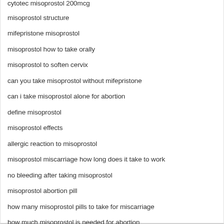cytotec misoprostol 200mcg
misoprostol structure
mifepristone misoprostol
misoprostol how to take orally
misoprostol to soften cervix
can you take misoprostol without mifepristone
can i take misoprostol alone for abortion
define misoprostol
misoprostol effects
allergic reaction to misoprostol
misoprostol miscarriage how long does it take to work
no bleeding after taking misoprostol
misoprostol abortion pill
how many misoprostol pills to take for miscarriage
how much misoprostol is needed for abortion
misoprostol and abortion
side effects of misoprostol 200 mcg